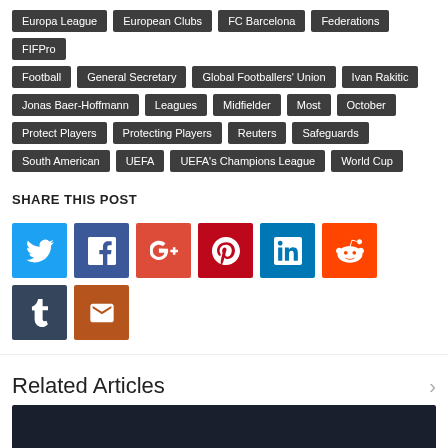Europa League
European Clubs
FC Barcelona
Federations
FIFPro
Football
General Secretary
Global Footballers' Union
Ivan Rakitic
Jonas Baer-Hoffmann
Leagues
Midfielder
Most
October
Protect Players
Protecting Players
Reuters
Safeguards
South American
UEFA
UEFA's Champions League
World Cup
SHARE THIS POST
[Figure (infographic): Social share buttons: Twitter, Facebook, Google+, Pinterest, LinkedIn, Reddit, Tumblr, Email]
Related Articles